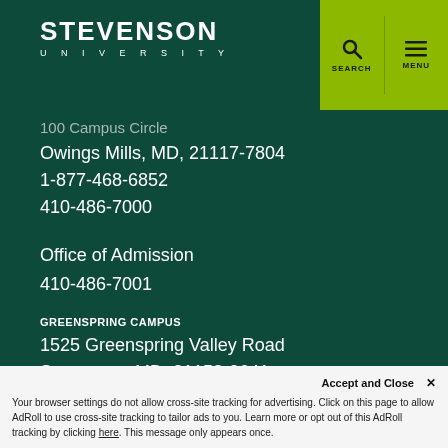[Figure (logo): Stevenson University logo with white text on dark green background, with yellow-green search and menu nav icons]
100 Campus Circle
Owings Mills, MD, 21117-7804
1-877-468-6852
410-486-7000
Office of Admission
410-486-7001
GREENSPRING CAMPUS
1525 Greenspring Valley Road
Stevenson, MD, 21153-0641
Maps & Directions →
Accept and Close ✕
Your browser settings do not allow cross-site tracking for advertising. Click on this page to allow AdRoll to use cross-site tracking to tailor ads to you. Learn more or opt out of this AdRoll tracking by clicking here. This message only appears once.